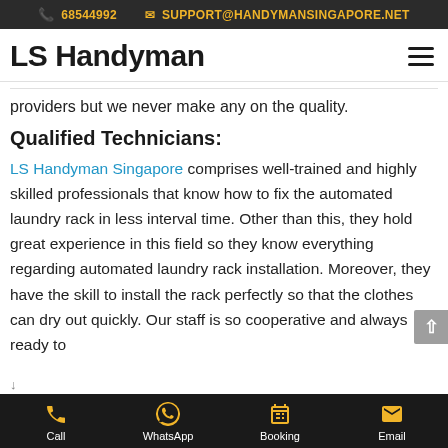68544992  SUPPORT@HANDYMANSINGAPORE.NET
LS Handyman
providers but we never make any on the quality.
Qualified Technicians:
LS Handyman Singapore comprises well-trained and highly skilled professionals that know how to fix the automated laundry rack in less interval time. Other than this, they hold great experience in this field so they know everything regarding automated laundry rack installation. Moreover, they have the skill to install the rack perfectly so that the clothes can dry out quickly. Our staff is so cooperative and always ready to
Call  WhatsApp  Booking  Email